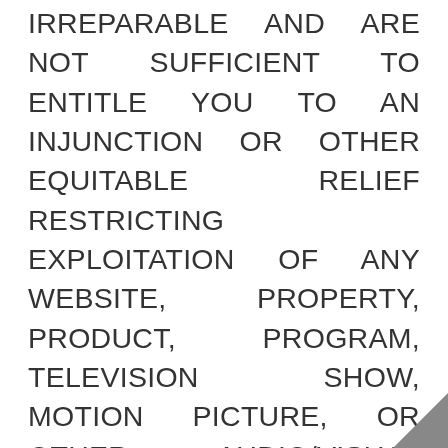IRREPARABLE AND ARE NOT SUFFICIENT TO ENTITLE YOU TO AN INJUNCTION OR OTHER EQUITABLE RELIEF RESTRICTING EXPLOITATION OF ANY WEBSITE, PROPERTY, PRODUCT, PROGRAM, TELEVISION SHOW, MOTION PICTURE, OR OTHER AUDIO/VISUAL CONTENT OWNED OR CONTROLLED BY THE PAT RESEARCH, INCLUDING WITHOUT LIMITATION the Site and Services (INCLUDING THOSE INCORPORATING USER SUBMISSIONS).